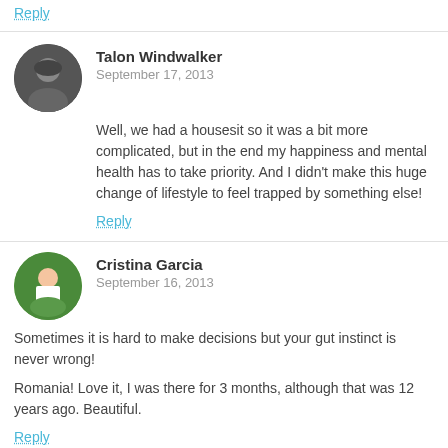Reply
Talon Windwalker
September 17, 2013
Well, we had a housesit so it was a bit more complicated, but in the end my happiness and mental health has to take priority. And I didn't make this huge change of lifestyle to feel trapped by something else!
Reply
Cristina Garcia
September 16, 2013
Sometimes it is hard to make decisions but your gut instinct is never wrong!

Romania! Love it, I was there for 3 months, although that was 12 years ago. Beautiful.
Reply
Talon Windwalker
September 17, 2013